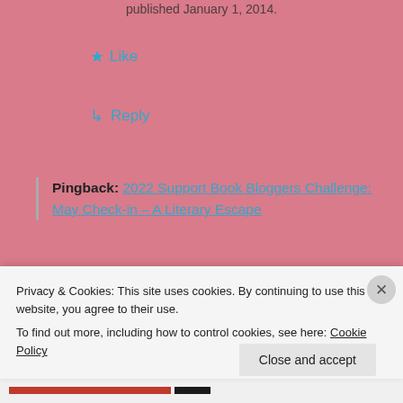published January 1, 2014.
★ Like
↳ Reply
Pingback: 2022 Support Book Bloggers Challenge: May Check-in – A Literary Escape
Leave a Reply
Your email address will not be published. Required
Privacy & Cookies: This site uses cookies. By continuing to use this website, you agree to their use.
To find out more, including how to control cookies, see here: Cookie Policy
Close and accept